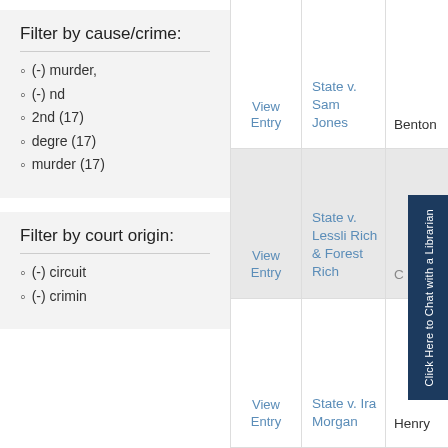Filter by cause/crime:
(-) murder,
(-) nd
2nd (17)
degre (17)
murder (17)
Filter by court origin:
(-) circuit
(-) crimin
|  | Case | County |
| --- | --- | --- |
| View Entry | State v. Sam Jones | Benton |
| View Entry | State v. Lessli Rich & Forest Rich | C… |
| View Entry | State v. Ira Morgan | Henry |